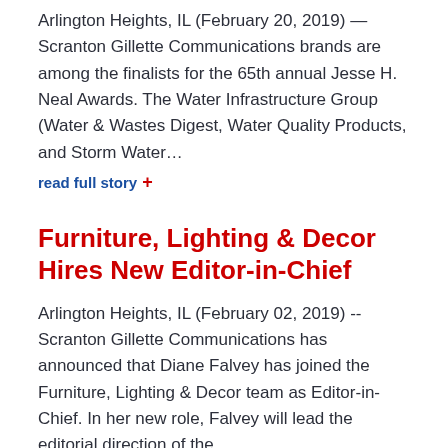Arlington Heights, IL (February 20, 2019) — Scranton Gillette Communications brands are among the finalists for the 65th annual Jesse H. Neal Awards. The Water Infrastructure Group (Water & Wastes Digest, Water Quality Products, and Storm Water…
read full story +
Furniture, Lighting & Decor Hires New Editor-in-Chief
Arlington Heights, IL (February 02, 2019) -- Scranton Gillette Communications has announced that Diane Falvey has joined the Furniture, Lighting & Decor team as Editor-in-Chief. In her new role, Falvey will lead the editorial direction of the ...